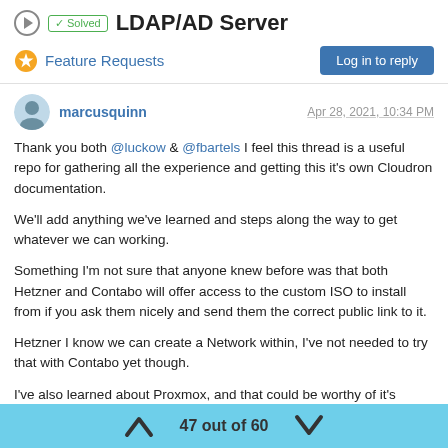✓ Solved  LDAP/AD Server
Feature Requests
marcusquinn   Apr 28, 2021, 10:34 PM
Thank you both @luckow & @fbartels I feel this thread is a useful repo for gathering all the experience and getting this it's own Cloudron documentation.
We'll add anything we've learned and steps along the way to get whatever we can working.
Something I'm not sure that anyone knew before was that both Hetzner and Contabo will offer access to the custom ISO to install from if you ask them nicely and send them the correct public link to it.
Hetzner I know we can create a Network within, I've not needed to try that with Contabo yet though.
I've also learned about Proxmox, and that could be worthy of it's
47 out of 60